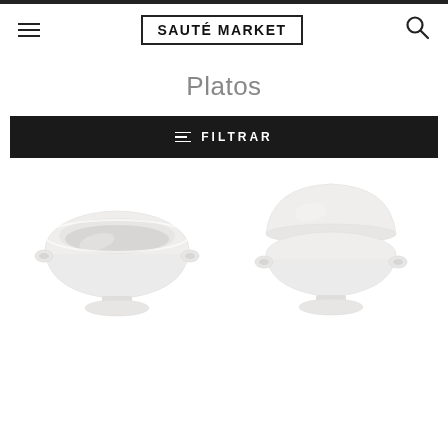SAUTÉ MARKET
Platos
FILTRAR
[Figure (photo): White ceramic soup bowl without lid, lion-head handled tureen style on pedestal base]
[Figure (photo): White ceramic soup bowl with lid, lion-head handled tureen style on pedestal base]